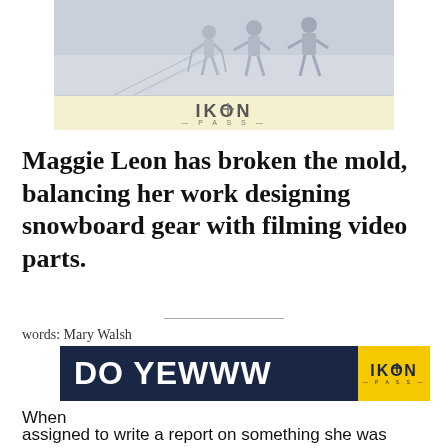[Figure (photo): Advertisement banner showing skiers/snowboarders on a snowy slope with IKON PASS branding in a light yellow bar below]
Maggie Leon has broken the mold, balancing her work designing snowboard gear with filming video parts.
words: Mary Walsh
[Figure (other): DO YEWWW advertisement banner with dark navy background and IKON PASS yellow logo on the right]
When assigned to write a report on something she was interested in. She could write about anything her 8-